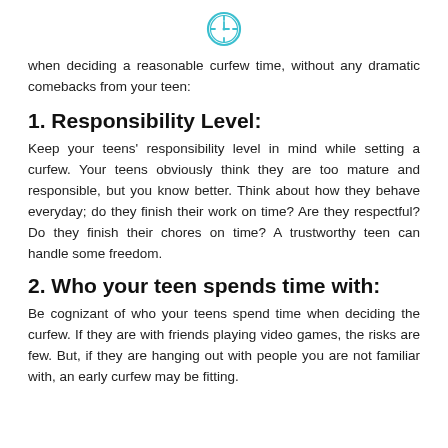[Figure (illustration): Teal/cyan clock icon centered at top of page]
when deciding a reasonable curfew time, without any dramatic comebacks from your teen:
1. Responsibility Level:
Keep your teens' responsibility level in mind while setting a curfew. Your teens obviously think they are too mature and responsible, but you know better. Think about how they behave everyday; do they finish their work on time? Are they respectful? Do they finish their chores on time? A trustworthy teen can handle some freedom.
2. Who your teen spends time with:
Be cognizant of who your teens spend time when deciding the curfew. If they are with friends playing video games, the risks are few. But, if they are hanging out with people you are not familiar with, an early curfew may be fitting.